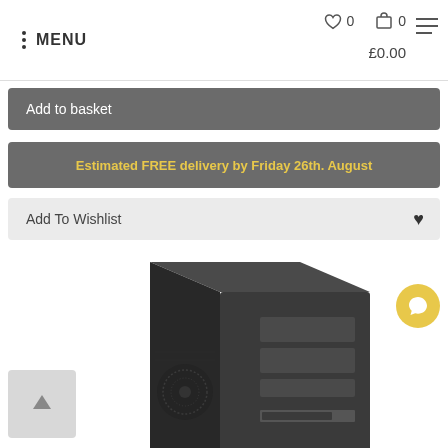MENU | ♡ 0 🛒 0 | £0.00
Add to basket
Estimated FREE delivery by Friday 26th. August
Add To Wishlist
[Figure (photo): Black mid-tower desktop PC case/chassis viewed from a front-left angle, showing drive bays and front panel ports on the right side.]